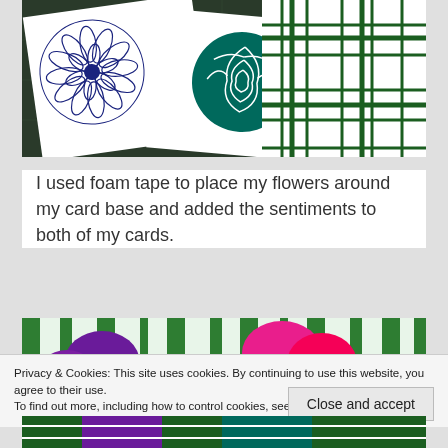[Figure (photo): Craft cards with floral and plaid designs on a cutting mat. Cards show navy blue dahlia flowers, a teal rose, and a green plaid pattern.]
I used foam tape to place my flowers around my card base and added the sentiments to both of my cards.
[Figure (photo): Close-up of craft cards showing purple and hot pink flower shapes on a green striped background.]
Privacy & Cookies: This site uses cookies. By continuing to use this website, you agree to their use.
To find out more, including how to control cookies, see here: Cookie Policy
Close and accept
[Figure (photo): Bottom portion of another craft card visible at very bottom of page.]